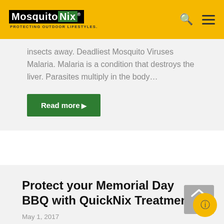MosquitoNix — PROTECTING OUTDOOR LIFESTYLES.
insects away. Deadliest Mosquito Viruses Malaria. Malaria is a condition that destroys the liver. Parasites multiply in the body…
Read more
Protect your Memorial Day BBQ with QuickNix Treatments
May 1, 2017
With Memorial Day right around the corner, you're probably already eager anticipating outdoor gatherings